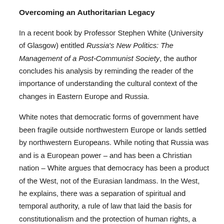Overcoming an Authoritarian Legacy
In a recent book by Professor Stephen White (University of Glasgow) entitled Russia's New Politics: The Management of a Post-Communist Society, the author concludes his analysis by reminding the reader of the importance of understanding the cultural context of the changes in Eastern Europe and Russia.
White notes that democratic forms of government have been fragile outside northwestern Europe or lands settled by northwestern Europeans. While noting that Russia was and is a European power – and has been a Christian nation – White argues that democracy has been a product of the West, not of the Eurasian landmass. In the West, he explains, there was a separation of spiritual and temporal authority, a rule of law that laid the basis for constitutionalism and the protection of human rights, a social pluralism that encouraged the formation of representative institutions, and a tradition of individual rights